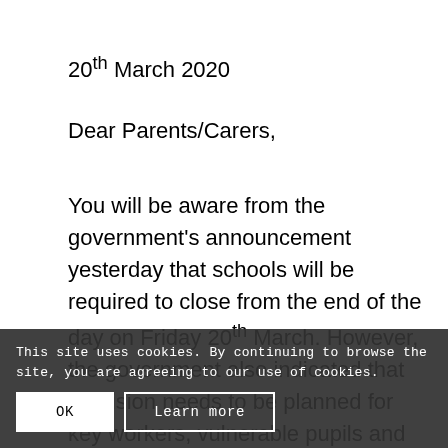20th March 2020
Dear Parents/Carers,
You will be aware from the government's announcement yesterday that schools will be required to close from the end of the day on Friday 20th March. However, the government also indicated that provision needs to be planned for key workers, vulnerable pupils and pupils with education and health care plans. So that we can ensure provision is planned and managed effectively, please could you complete the attached and return it to
This site uses cookies. By continuing to browse the site, you are agreeing to our use of cookies.